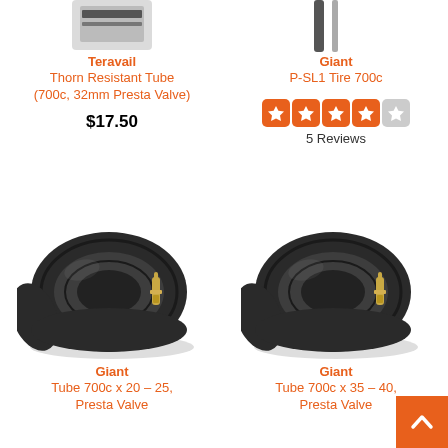[Figure (photo): Partial top view of Teravail Thorn Resistant Tube packaging]
Teravail
Thorn Resistant Tube (700c, 32mm Presta Valve)
$17.50
[Figure (photo): Partial top view of Giant P-SL1 Tire 700c]
Giant
P-SL1 Tire 700c
[Figure (other): Star rating: 3.5 out of 5 stars, 5 Reviews]
5 Reviews
[Figure (photo): Giant Tube 700c x 20-25 Presta Valve coiled bicycle inner tube]
Giant
Tube 700c x 20 – 25, Presta Valve
[Figure (photo): Giant Tube 700c x 35-40 Presta Valve coiled bicycle inner tube]
Giant
Tube 700c x 35 – 40, Presta Valve